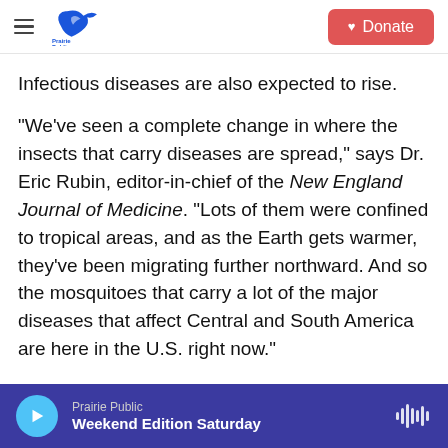Prairie Public — Donate
Infectious diseases are also expected to rise.
"We've seen a complete change in where the insects that carry diseases are spread," says Dr. Eric Rubin, editor-in-chief of the New England Journal of Medicine. "Lots of them were confined to tropical areas, and as the Earth gets warmer, they've been migrating further northward. And so the mosquitoes that carry a lot of the major diseases that affect Central and South America are here in the U.S. right now."
The warning comes ahead of major climate
Prairie Public — Weekend Edition Saturday